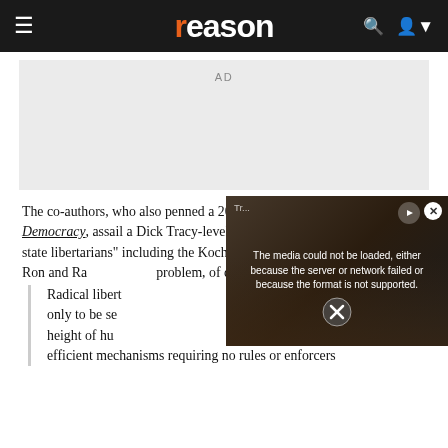reason
[Figure (other): AD placeholder box]
The co-authors, who also penned a 2011 book called The Gardens of Democracy, assail a Dick Tracy-level Rogues Gallery of "nihilist, anti-state libertarians" including the Koch Brothers (... and Ron and Ra... problem, of cou...
[Figure (screenshot): Video player overlay showing error message: The media could not be loaded, either because the server or network failed or because the format is not supported.]
Radical libert... only to be se... height of hu... efficient mechanisms requiring no rules or enforcers